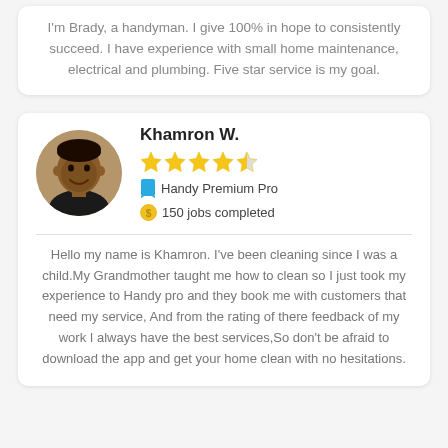I'm Brady, a handyman. I give 100% in hope to consistently succeed. I have experience with small home maintenance, electrical and plumbing. Five star service is my goal.
Khamron W.
[Figure (other): Profile photo of Khamron W., a smiling man]
4.5 star rating
Handy Premium Pro
150 jobs completed
Hello my name is Khamron. I've been cleaning since I was a child.My Grandmother taught me how to clean so I just took my experience to Handy pro and they book me with customers that need my service, And from the rating of there feedback of my work I always have the best services,So don't be afraid to download the app and get your home clean with no hesitations.